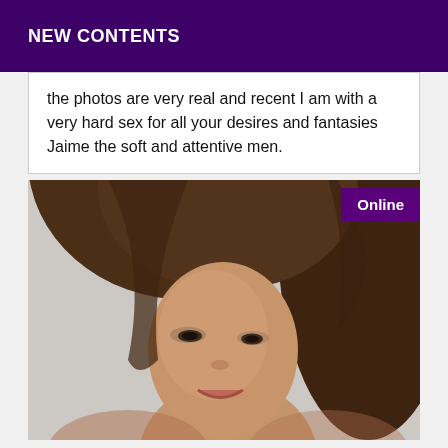NEW CONTENTS
the photos are very real and recent I am with a very hard sex for all your desires and fantasies Jaime the soft and attentive men.
[Figure (photo): Close-up portrait photo of a woman with long brown hair, smiling, with an 'Online' badge in the top right corner of the image frame.]